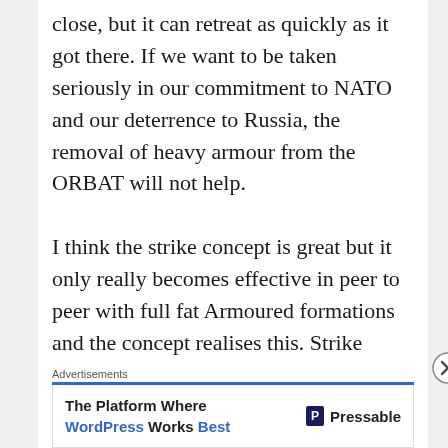close, but it can retreat as quickly as it got there. If we want to be taken seriously in our commitment to NATO and our deterrence to Russia, the removal of heavy armour from the ORBAT will not help.

I think the strike concept is great but it only really becomes effective in peer to peer with full fat Armoured formations and the concept realises this. Strike dones to train regularly both as an individual formation and joint formation as the modus operandi, I would think would be quite different in the 2
Advertisements
The Platform Where WordPress Works Best — Pressable